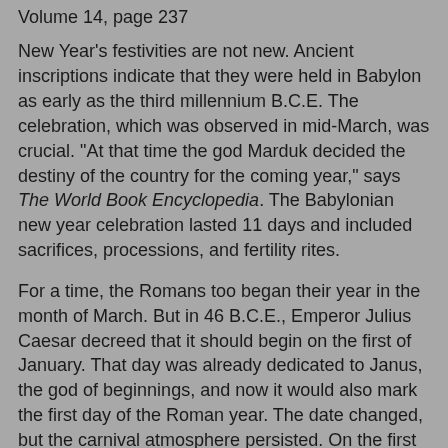Volume 14, page 237
New Year's festivities are not new. Ancient inscriptions indicate that they were held in Babylon as early as the third millennium B.C.E. The celebration, which was observed in mid-March, was crucial. "At that time the god Marduk decided the destiny of the country for the coming year," says The World Book Encyclopedia. The Babylonian new year celebration lasted 11 days and included sacrifices, processions, and fertility rites.
For a time, the Romans too began their year in the month of March. But in 46 B.C.E., Emperor Julius Caesar decreed that it should begin on the first of January. That day was already dedicated to Janus, the god of beginnings, and now it would also mark the first day of the Roman year. The date changed, but the carnival atmosphere persisted. On the first of January, people "gave themselves up to riotous excess and various kinds of heathen superstition." -McClintock and Strong's Cyclopedia.
For more, see